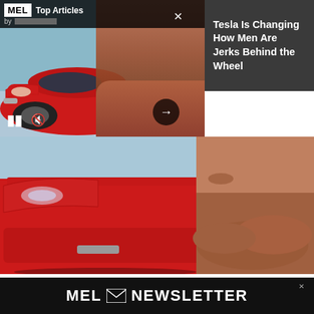[Figure (screenshot): MEL Top Articles video overlay showing a red Tesla car and a shirtless muscular man with crossed arms, with play/pause/mute controls and a right arrow button. MEL logo and 'Top Articles by' label at top left. Dark gray panel on right with article title.]
Tesla Is Changing How Men Are Jerks Behind the Wheel
[Figure (photo): Main article image showing close-up of red Tesla car front bumper on left and shirtless muscular man with arms crossed on right, against a light blue-gray background.]
Surely, in the vast world of skincare and plastic surgery, there must be some way to dial the ol' Flux Capacitor down from 1.21 gigawatts, right? Not only does a Google search reveal multiple surgical options for "bulging forehead vein rem...
[Figure (screenshot): MEL Newsletter signup banner in black with envelope icon and 'NEWSLETTER' text in white, small X close button and ad label at top right.]